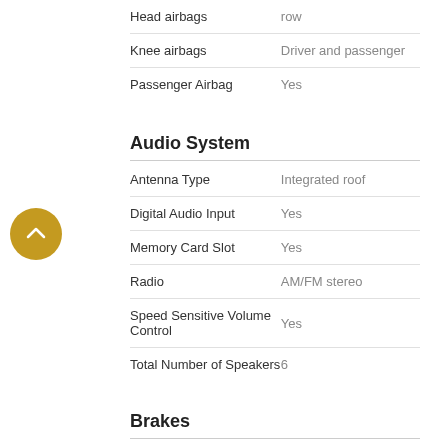| Feature | Value |
| --- | --- |
| Head airbags | row |
| Knee airbags | Driver and passenger |
| Passenger Airbag | Yes |
Audio System
| Feature | Value |
| --- | --- |
| Antenna Type | Integrated roof |
| Digital Audio Input | Yes |
| Memory Card Slot | Yes |
| Radio | AM/FM stereo |
| Speed Sensitive Volume Control | Yes |
| Total Number of Speakers | 6 |
Brakes
| Feature | Value |
| --- | --- |
| Braking assist | Braking assist |
| Front brakes | Ventilated disc |
Child Safety
| Feature | Value |
| --- | --- |
| Child safety locks | Manual |